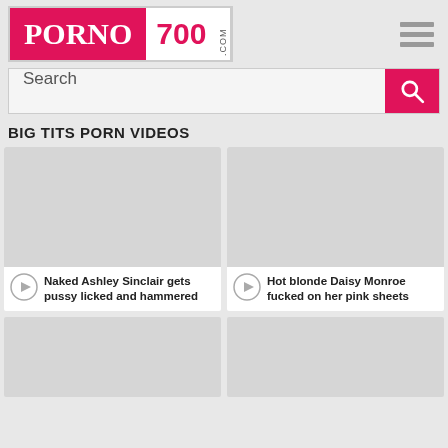[Figure (logo): PORNO 700 .COM logo with pink background for PORNO text and white background for 700]
Search
BIG TITS PORN VIDEOS
[Figure (screenshot): Video thumbnail placeholder (grey) for 'Naked Ashley Sinclair gets pussy licked and hammered']
Naked Ashley Sinclair gets pussy licked and hammered
[Figure (screenshot): Video thumbnail placeholder (grey) for 'Hot blonde Daisy Monroe fucked on her pink sheets']
Hot blonde Daisy Monroe fucked on her pink sheets
[Figure (screenshot): Video thumbnail placeholder (grey) — partial, bottom of page]
[Figure (screenshot): Video thumbnail placeholder (grey) — partial, bottom of page]